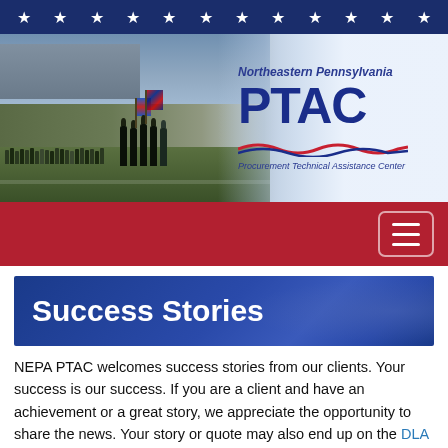★ ★ ★ ★ ★ ★ ★ ★ ★ ★ ★ ★
[Figure (photo): Military honor guard carrying flags at a stadium event, with troops lined up on the field. Northeastern Pennsylvania PTAC logo overlay on the right side with wave graphic and text 'Procurement Technical Assistance Center'.]
[Figure (screenshot): Red navigation bar with hamburger menu icon (three horizontal lines) in the top right corner.]
Success Stories
NEPA PTAC welcomes success stories from our clients. Your success is our success. If you are a client and have an achievement or a great story, we appreciate the opportunity to share the news. Your story or quote may also end up on the DLA PTAC Small Business Page.
Northeast Infrastructure, LLC